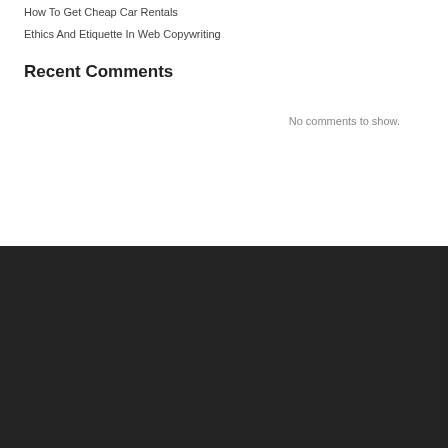How To Get Cheap Car Rentals
Ethics And Etiquette In Web Copywriting
Recent Comments
No comments to show.